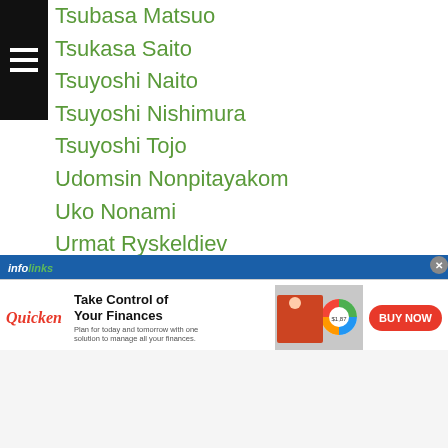Tsubasa Matsuo
Tsukasa Saito
Tsuyoshi Naito
Tsuyoshi Nishimura
Tsuyoshi Tojo
Udomsin Nonpitayakom
Uko Nonami
Urmat Ryskeldiev
Vagif Mekhraliev
Valentine Hosokawa
Valentyn Trostyanchuk
Valeriano Gabriel
Val Falcunaya
Veeradej Manopkanchang
Veerapol Sor Chantasith
...Patac
[Figure (screenshot): Infolinks advertisement banner for Quicken personal finance software. Shows 'Take Control of Your Finances' headline with BUY NOW button in red.]